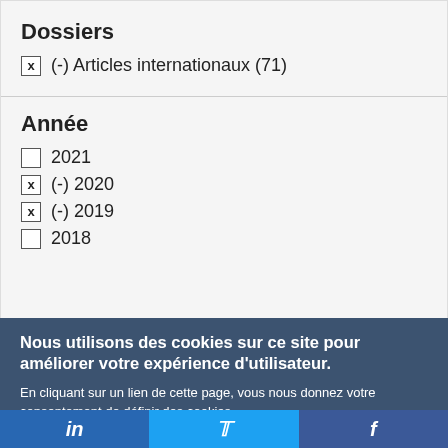Dossiers
x  (-) Articles internationaux (71)
Année
☐  2021
x  (-) 2020
x  (-) 2019
☐  2018
Nous utilisons des cookies sur ce site pour améliorer votre expérience d'utilisateur.
En cliquant sur un lien de cette page, vous nous donnez votre consentement de définir des cookies.
Oui, je suis d'accord | Plus d'infos
in  |  Twitter bird  |  f